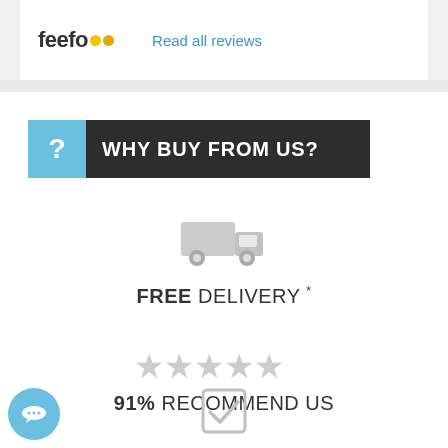[Figure (logo): Feefo logo with two yellow/gold circles and 'Read all reviews' link in blue]
WHY BUY FROM US?
[Figure (illustration): Grey delivery truck icon]
FREE DELIVERY *
[Figure (illustration): Five grey star rating icons]
91% RECOMMEND US
[Figure (illustration): Grey checkmark/checkbox icon at bottom center]
[Figure (illustration): Blue chat bubble with ellipsis at bottom left]